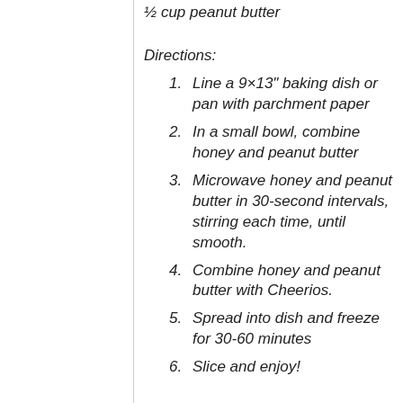½ cup peanut butter
Directions:
1. Line a 9×13" baking dish or pan with parchment paper
2. In a small bowl, combine honey and peanut butter
3. Microwave honey and peanut butter in 30-second intervals, stirring each time, until smooth.
4. Combine honey and peanut butter with Cheerios.
5. Spread into dish and freeze for 30-60 minutes
6. Slice and enjoy!